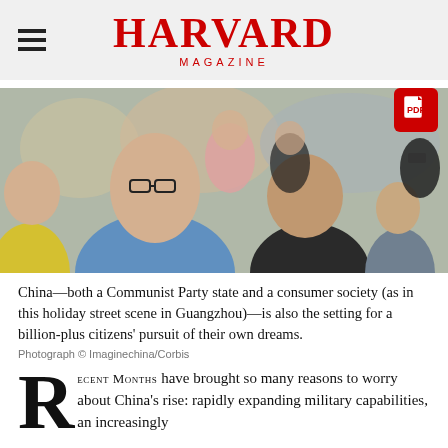HARVARD MAGAZINE
[Figure (photo): A crowd of people on a holiday street scene in Guangzhou, China. A man in a blue striped polo shirt and glasses is prominent in the foreground.]
China—both a Communist Party state and a consumer society (as in this holiday street scene in Guangzhou)—is also the setting for a billion-plus citizens' pursuit of their own dreams. Photograph © Imaginechina/Corbis
RECENT MONTHS have brought so many reasons to worry about China's rise: rapidly expanding military capabilities, an increasingly